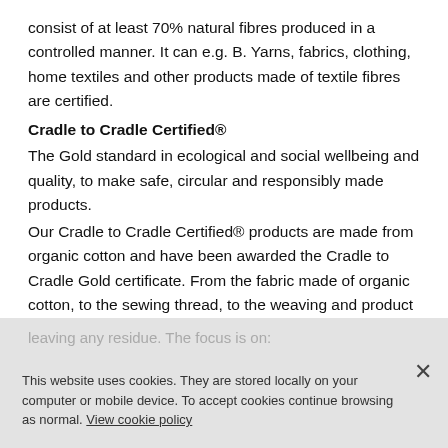consist of at least 70% natural fibres produced in a controlled manner. It can e.g. B. Yarns, fabrics, clothing, home textiles and other products made of textile fibres are certified.
Cradle to Cradle Certified®
The Gold standard in ecological and social wellbeing and quality, to make safe, circular and responsibly made products.
Our Cradle to Cradle Certified® products are made from organic cotton and have been awarded the Cradle to Cradle Gold certificate. From the fabric made of organic cotton, to the sewing thread, to the weaving and product label, to the colour pigments - everything is completely biodegradable and can be returned to the biological cycle without
leaving any residue. The focus is on:
material health
product circula
renewable energy and Carbon management
This website uses cookies. They are stored locally on your computer or mobile device. To accept cookies continue browsing as normal. View cookie policy